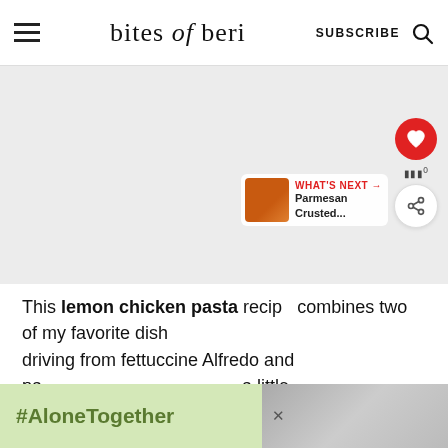bites of beri  SUBSCRIBE
[Figure (photo): Large light gray image placeholder area for a food photo, with social sharing sidebar (heart/save button in red, share button), and a 'WHAT'S NEXT → Parmesan Crusted...' overlay with a thumbnail of food.]
This lemon chicken pasta recipe combines two of my favorite dishes, driving from fettuccine Alfredo and crispy pasta a little
[Figure (photo): #AloneTogether advertisement banner with green background, showing a photo of a man waving to a child, with an X close button.]